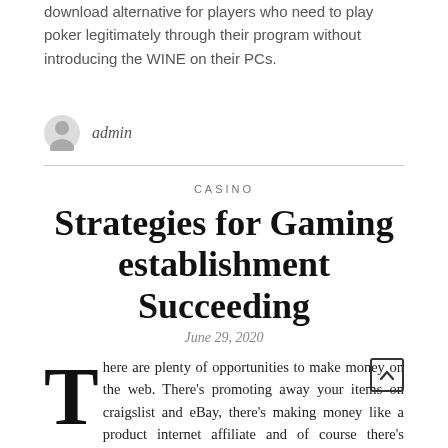download alternative for players who need to play poker legitimately through their program without introducing the WINE on their PCs.
admin
CASINO
Strategies for Gaming establishment Succeeding
June 29, 2020
There are plenty of opportunities to make money on the web. There's promoting away your items on craigslist and eBay, there's making money like a product internet affiliate and of course there's casino. Of